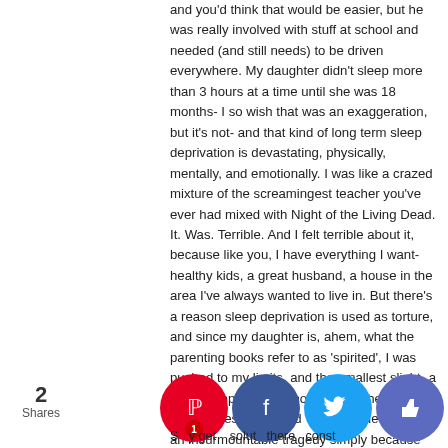and you'd think that would be easier, but he was really involved with stuff at school and needed (and still needs) to be driven everywhere. My daughter didn't sleep more than 3 hours at a time until she was 18 months- I so wish that was an exaggeration, but it's not- and that kind of long term sleep deprivation is devastating, physically, mentally, and emotionally. I was like a crazed mixture of the screamingest teacher you've ever had mixed with Night of the Living Dead. It. Was. Terrible. And I felt terrible about it, because like you, I have everything I want- healthy kids, a great husband, a house in the area I've always wanted to live in. But there's a reason sleep deprivation is used as torture, and since my daughter is, ahem, what the parenting books refer to as 'spirited', I was pushed to my limits, and the smallest slight- a spilled sippy cup, a phone call at the wrong time, a mess where I'd *just* cleaned- felt like an insurmountable tragedy simply because my brain and body weren't getting what they needed to function normally. It was honestly the most difficult time in my life.
2 Shares
[Figure (infographic): Social share buttons: Pinterest (1), Facebook, Twitter, Thumbs up, Crown]
S...y get ...solut...there...const... physical and emotional exhaustion from putting out fires and...